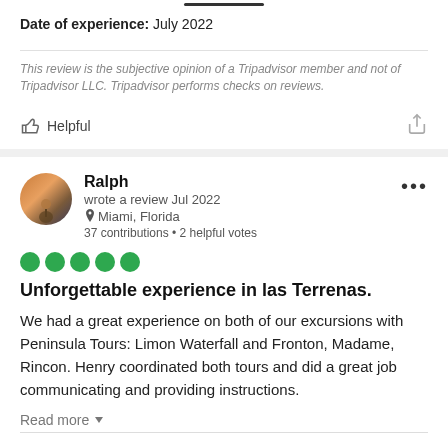Date of experience: July 2022
This review is the subjective opinion of a Tripadvisor member and not of Tripadvisor LLC. Tripadvisor performs checks on reviews.
Helpful
Ralph
wrote a review Jul 2022
Miami, Florida
37 contributions • 2 helpful votes
Unforgettable experience in las Terrenas.
We had a great experience on both of our excursions with Peninsula Tours: Limon Waterfall and Fronton, Madame, Rincon. Henry coordinated both tours and did a great job communicating and providing instructions.
Read more